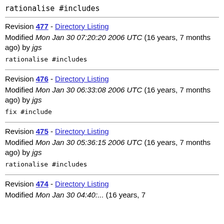rationalise #includes
Revision 477 - Directory Listing
Modified Mon Jan 30 07:20:20 2006 UTC (16 years, 7 months ago) by jgs
rationalise #includes
Revision 476 - Directory Listing
Modified Mon Jan 30 06:33:08 2006 UTC (16 years, 7 months ago) by jgs
fix #include
Revision 475 - Directory Listing
Modified Mon Jan 30 05:36:15 2006 UTC (16 years, 7 months ago) by jgs
rationalise #includes
Revision 474 - Directory Listing